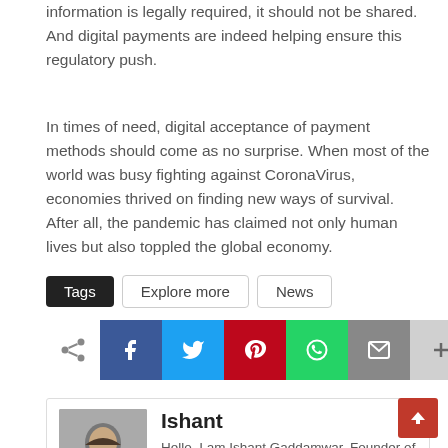information is legally required, it should not be shared. And digital payments are indeed helping ensure this regulatory push.
In times of need, digital acceptance of payment methods should come as no surprise. When most of the world was busy fighting against CoronaVirus, economies thrived on finding new ways of survival. After all, the pandemic has claimed not only human lives but also toppled the global economy.
Tags  Explore more  News
[Figure (infographic): Social share icons row: share symbol, Facebook (blue), Twitter (cyan), Pinterest (red), WhatsApp (green), Email (grey), More (light grey)]
Ishant
Hello, I am Ishant Gaddamwar, Founder of the Dark hacker world. I am a Geek and also a Cybersecurity expert. Have to write